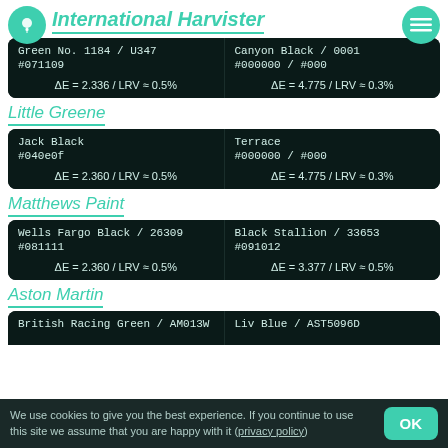International Harvister
| Color 1 | Color 2 |
| --- | --- |
| Green No. 1184 / U347
#071109
ΔE = 2.336 / LRV ≈ 0.5% | Canyon Black / 0001
#000000 / #000
ΔE = 4.775 / LRV ≈ 0.3% |
Little Greene
| Color 1 | Color 2 |
| --- | --- |
| Jack Black
#040e0f
ΔE = 2.360 / LRV ≈ 0.5% | Terrace
#000000 / #000
ΔE = 4.775 / LRV ≈ 0.3% |
Matthews Paint
| Color 1 | Color 2 |
| --- | --- |
| Wells Fargo Black / 26309
#081111
ΔE = 2.360 / LRV ≈ 0.5% | Black Stallion / 33653
#091012
ΔE = 3.377 / LRV ≈ 0.5% |
Aston Martin
| Color 1 | Color 2 |
| --- | --- |
| British Racing Green / AM013W | Liv Blue / AST5096D |
We use cookies to give you the best experience. If you continue to use this site we assume that you are happy with it (privacy policy)